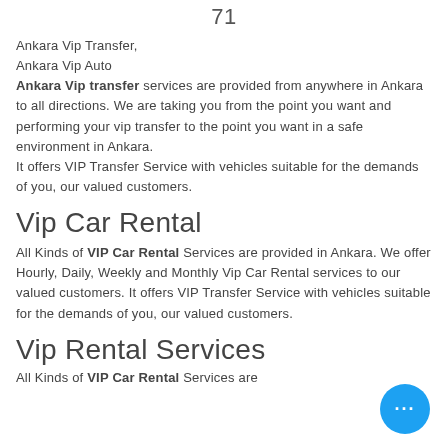71
Ankara Vip Transfer,
Ankara Vip Auto
Ankara Vip transfer services are provided from anywhere in Ankara to all directions. We are taking you from the point you want and performing your vip transfer to the point you want in a safe environment in Ankara.
It offers VIP Transfer Service with vehicles suitable for the demands of you, our valued customers.
Vip Car Rental
All Kinds of VIP Car Rental Services are provided in Ankara. We offer Hourly, Daily, Weekly and Monthly Vip Car Rental services to our valued customers. It offers VIP Transfer Service with vehicles suitable for the demands of you, our valued customers.
Vip Rental Services
All Kinds of VIP Car Rental Services are